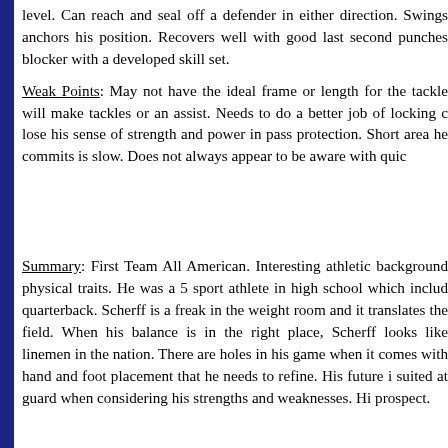level. Can reach and seal off a defender in either direction. Swings anchors his position. Recovers well with good last second punches blocker with a developed skill set.
Weak Points: May not have the ideal frame or length for the tackle will make tackles or an assist. Needs to do a better job of locking c lose his sense of strength and power in pass protection. Short area he commits is slow. Does not always appear to be aware with quic
Summary: First Team All American. Interesting athletic background physical traits. He was a 5 sport athlete in high school which includ quarterback. Scherff is a freak in the weight room and it translates the field. When his balance is in the right place, Scherff looks like linemen in the nation. There are holes in his game when it comes with hand and foot placement that he needs to refine. His future i suited at guard when considering his strengths and weaknesses. Hi prospect.